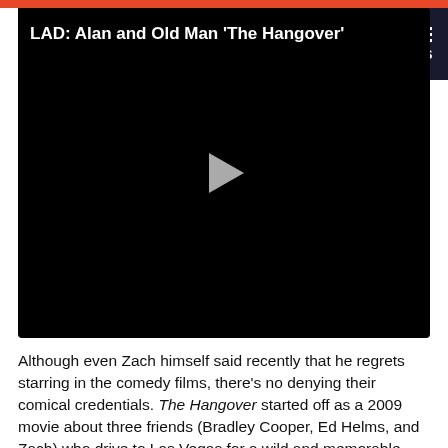LAD Bible
[Figure (screenshot): Video player with black background showing title 'LAD: Alan and Old Man The Hangover' with a play button in the center]
Although even Zach himself said recently that he regrets starring in the comedy films, there's no denying their comical credentials. The Hangover started off as a 2009 movie about three friends (Bradley Cooper, Ed Helms, and Zach) who drive to Las Vegas for a wild and memorable stag party and it some become a cult-classic.